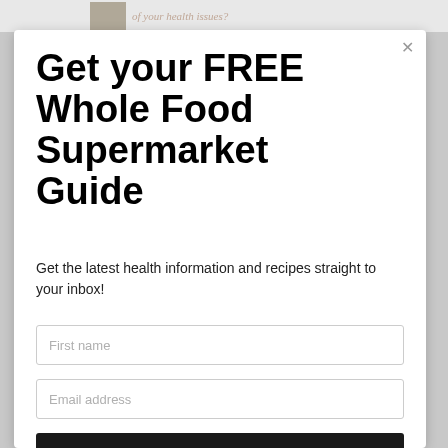of your health issues?
Get your FREE Whole Food Supermarket Guide
Get the latest health information and recipes straight to your inbox!
First name
Email address